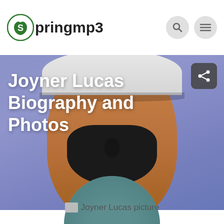Springmp3
Joyner Lucas Biography and Photos
[Figure (photo): Hero banner showing a close-up photo of Joyner Lucas wearing a white cap, against a purple/blue background, with the title overlaid in white bold text]
[Figure (photo): Circular cropped portrait photo of Joyner Lucas]
Joyner Lucas picture